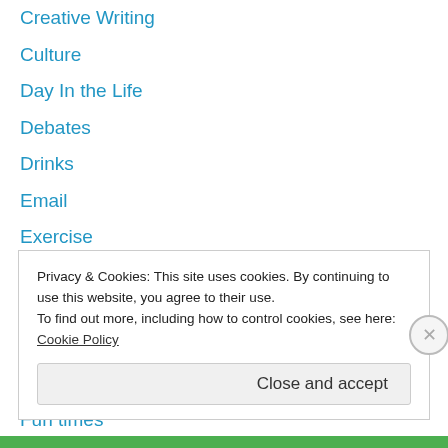Creative Writing
Culture
Day In the Life
Debates
Drinks
Email
Exercise
Family
Fandom
Food
Friends
Fun times
Games
Privacy & Cookies: This site uses cookies. By continuing to use this website, you agree to their use. To find out more, including how to control cookies, see here: Cookie Policy
Close and accept